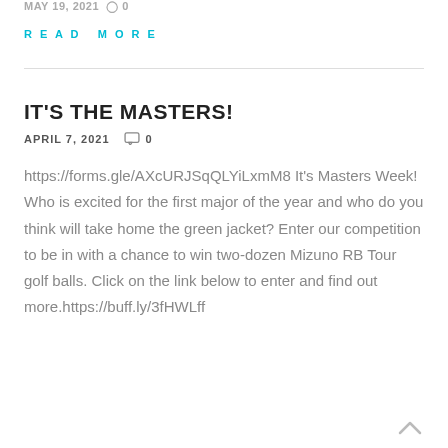MAY 19, 2021  0
READ MORE
IT'S THE MASTERS!
APRIL 7, 2021  0
https://forms.gle/AXcURJSqQLYiLxmM8 It's Masters Week! Who is excited for the first major of the year and who do you think will take home the green jacket? Enter our competition to be in with a chance to win two-dozen Mizuno RB Tour golf balls. Click on the link below to enter and find out more.https://buff.ly/3fHWLff